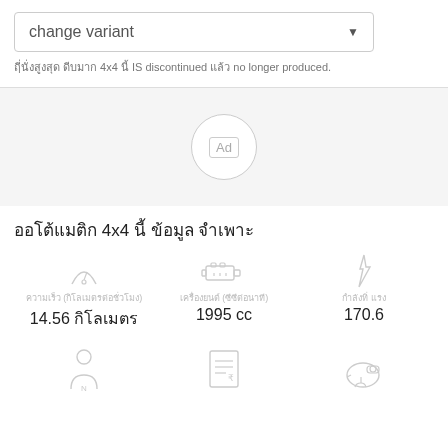change variant
ที่นั่งสูงสุด 4x4 นี้ IS discontinued แล้ว no longer produced.
[Figure (other): Ad placeholder circle with 'Ad' label]
ออโต้แมติก 4x4 นี้ ข้อมูล จำเพาะ
ความเร็ว (กิโลเมตรต่อชั่วโมง) 14.56 กิโลเมตร
เครื่องยนต์ (ซีซีต่อนาที) 1995 cc
กำลัง แรง 170.6
[Figure (infographic): Bottom icons row with person, document, and piggy bank icons]